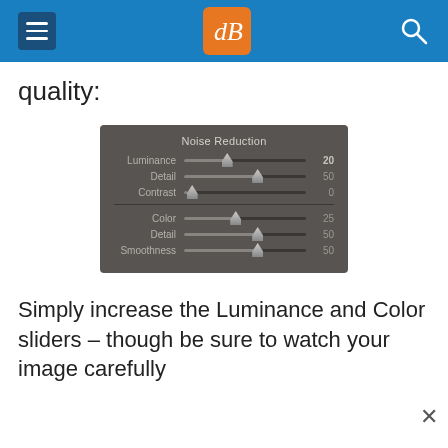dPS header navigation
quality:
[Figure (screenshot): Noise Reduction panel from Lightroom showing sliders: Luminance 20, Detail 50, Contrast 0, Color 25, Detail 50, Smoothness 50]
Simply increase the Luminance and Color sliders – though be sure to watch your image carefully